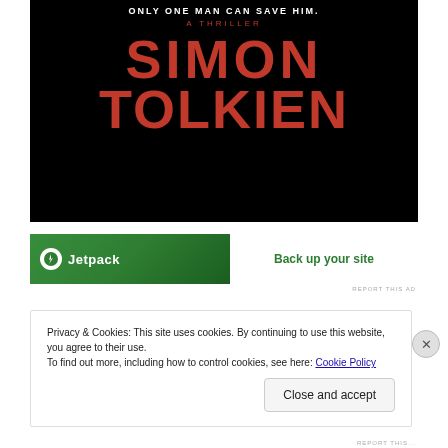[Figure (illustration): Book cover for a thriller by Simon Tolkien on black background with red text reading 'ONLY ONE MAN CAN SAVE HIM.' at top, 'A THRILLER' below, followed by large 'SIMON TOLKIEN' author name]
[Figure (other): Jetpack advertisement banner — green background with Jetpack logo and text 'Back up your site' on white panel]
REPORT THIS AD
Privacy & Cookies: This site uses cookies. By continuing to use this website, you agree to their use.
To find out more, including how to control cookies, see here: Cookie Policy
Close and accept